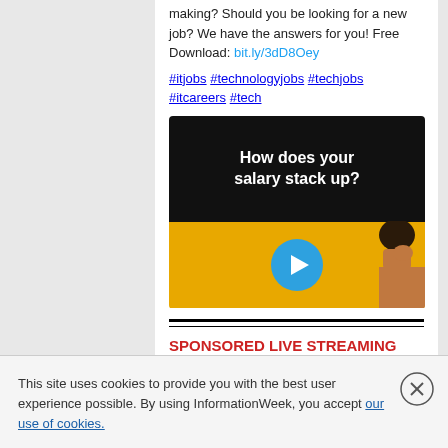making? Should you be looking for a new job? We have the answers for you! Free Download: bit.ly/3dD8Oey #itjobs #technologyjobs #techjobs #itcareers #tech
[Figure (screenshot): Video thumbnail with black top half reading 'How does your salary stack up?' in bold white text, and a yellow-gold bottom half showing a person from behind with a blue play button circle overlay]
SPONSORED LIVE STREAMING VIDEO
This site uses cookies to provide you with the best user experience possible. By using InformationWeek, you accept our use of cookies.